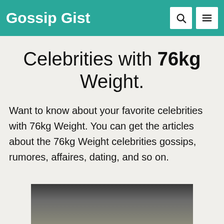Gossip Gist
Celebrities with 76kg Weight.
Want to know about your favorite celebrities with 76kg Weight. You can get the articles about the 76kg Weight celebrities gossips, rumores, affaires, dating, and so on.
[Figure (photo): Photo of a celebrity, partially visible at the bottom of the page]